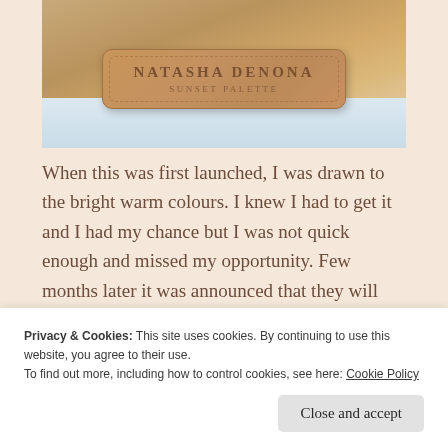[Figure (photo): Close-up photo of a tan/caramel colored Natasha Denona Sunset Palette compact with embossed branding text, resting on a light blue-grey furry surface.]
When this was first launched, I was drawn to the bright warm colours. I knew I had to get it and I had my chance but I was not quick enough and missed my opportunity. Few months later it was announced that they will released it again so I
Privacy & Cookies: This site uses cookies. By continuing to use this website, you agree to their use.
To find out more, including how to control cookies, see here: Cookie Policy
Close and accept